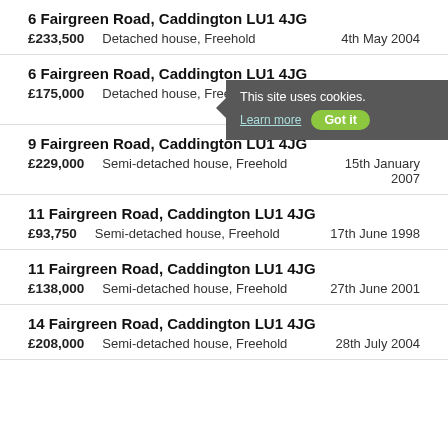6 Fairgreen Road, Caddington LU1 4JG
£233,500   Detached house, Freehold   4th May 2004
6 Fairgreen Road, Caddington LU1 4JG
£175,000   Detached house, Freehold   1st February 2002
9 Fairgreen Road, Caddington LU1 4JG
£229,000   Semi-detached house, Freehold   15th January 2007
11 Fairgreen Road, Caddington LU1 4JG
£93,750   Semi-detached house, Freehold   17th June 1998
11 Fairgreen Road, Caddington LU1 4JG
£138,000   Semi-detached house, Freehold   27th June 2001
14 Fairgreen Road, Caddington LU1 4JG
£208,000   Semi-detached house, Freehold   28th July 2004